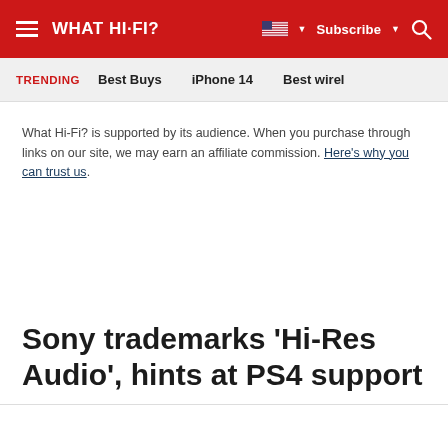WHAT HI-FI?
TRENDING | Best Buys | iPhone 14 | Best wirel…
What Hi-Fi? is supported by its audience. When you purchase through links on our site, we may earn an affiliate commission. Here's why you can trust us.
Sony trademarks 'Hi-Res Audio', hints at PS4 support